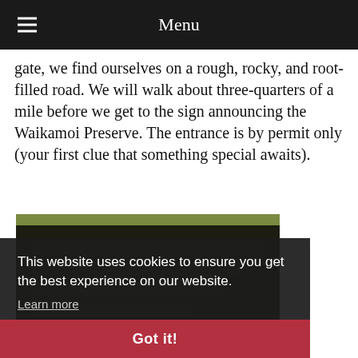Menu
gate, we find ourselves on a rough, rocky, and root-filled road. We will walk about three-quarters of a mile before we get to the sign announcing the Waikamoi Preserve. The entrance is by permit only (your first clue that something special awaits).
[Figure (photo): Photo of a dark wooden sign for Waikamoi Preserve with green foliage visible at the top and surrounding area]
This website uses cookies to ensure you get the best experience on our website. Learn more
Got it!